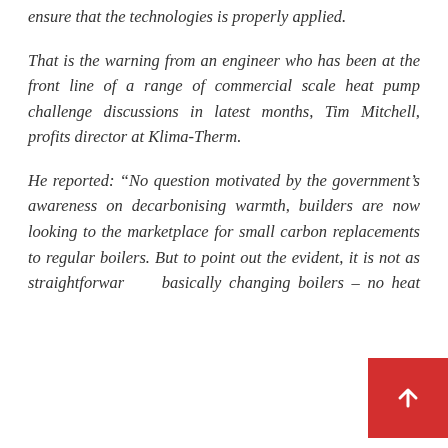ensure that the technologies is properly applied.
That is the warning from an engineer who has been at the front line of a range of commercial scale heat pump challenge discussions in latest months, Tim Mitchell, profits director at Klima-Therm.
He reported: “No question motivated by the government’s awareness on decarbonising warmth, builders are now looking to the marketplace for small carbon replacements to regular boilers. But to point out the evident, it is not as straightforward as basically changing boilers – no heat pump